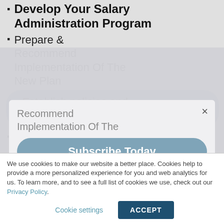Develop Your Salary Administration Program
Prepare & Recommend Implementation Of The New Plan
Establish policies and procedures
Periodically review current jobs for competitiveness
Prepare merit increase guidelines
We use cookies to make our website a better place. Cookies help to provide a more personalized experience for you and web analytics for us. To learn more, and to see a full list of cookies we use, check out our Privacy Policy.